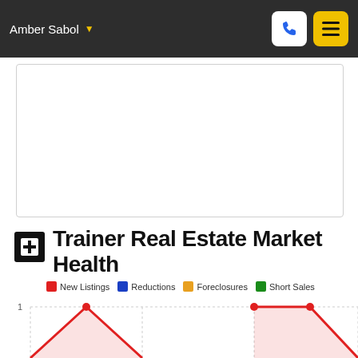Amber Sabol
[Figure (other): White content box placeholder]
Trainer Real Estate Market Health
New Listings  Reductions  Foreclosures  Short Sales
[Figure (area-chart): Trainer Real Estate Market Health line/area chart showing New Listings data with value 1 visible on y-axis, red lines with shaded area visible at bottom of page]